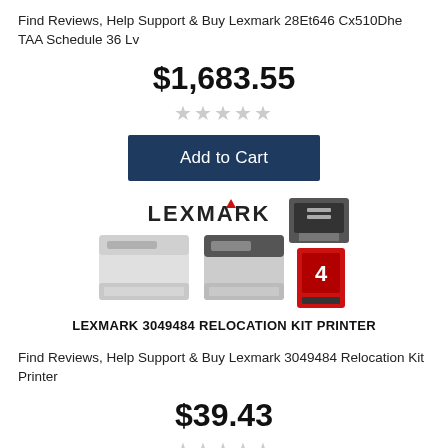Find Reviews, Help Support & Buy Lexmark 28Et646 Cx510Dhe TAA Schedule 36 Lv
$1,683.55
[Figure (other): Five empty star rating icons in gray]
[Figure (other): Add to Cart button with dark navy blue background]
[Figure (other): Lexmark brand logo with several printer product images]
LEXMARK 3049484 RELOCATION KIT PRINTER
Find Reviews, Help Support & Buy Lexmark 3049484 Relocation Kit Printer
$39.43
[Figure (other): Five empty star rating icons in gray]